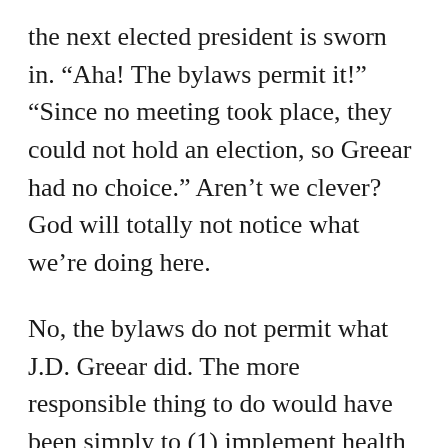the next elected president is sworn in. “Aha! The bylaws permit it!” “Since no meeting took place, they could not hold an election, so Greear had no choice.” Aren’t we clever? God will totally not notice what we’re doing here.
No, the bylaws do not permit what J.D. Greear did. The more responsible thing to do would have been simply to (1) implement health and safety protocols at the scheduled 2020 conference, (2)